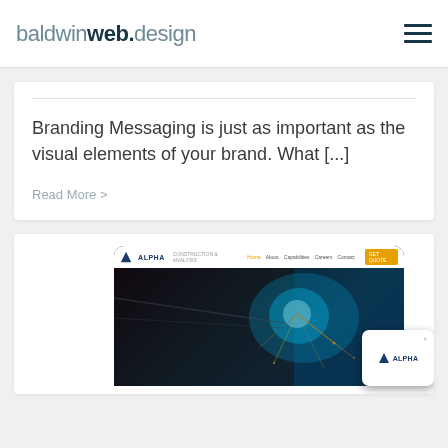baldwinweb.design
Branding Messaging is just as important as the visual elements of your brand. What [...]
Read More >
[Figure (screenshot): Screenshot of Alpha construction/welding company website showing a dark hero image with welding sparks and blue light, with a browser mockup and a mobile phone mockup in the bottom right corner showing the Alpha logo.]